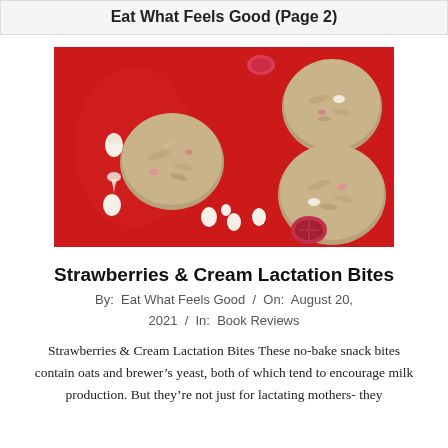Eat What Feels Good (Page 2)
[Figure (photo): Overhead view of strawberries and cream lactation bites (oat energy balls with white chocolate chips and dried strawberries) on a red surface]
Strawberries & Cream Lactation Bites
By:  Eat What Feels Good  /  On:  August 20, 2021  /  In:  Book Reviews
Strawberries & Cream Lactation Bites These no-bake snack bites contain oats and brewer’s yeast, both of which tend to encourage milk production. But they’re not just for lactating mothers- they